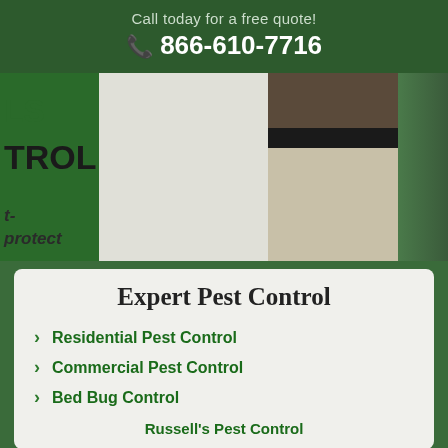Call today for a free quote!
☎ 866-610-7716
[Figure (photo): Pest control technician standing next to a white van with green lettering reading 'PEST CONTROL'. The van shows partial text including 'protect'. The technician is visible from waist down wearing khaki pants and a black shirt with a belt.]
Expert Pest Control
Residential Pest Control
Commercial Pest Control
Bed Bug Control
Russell's Pest Control